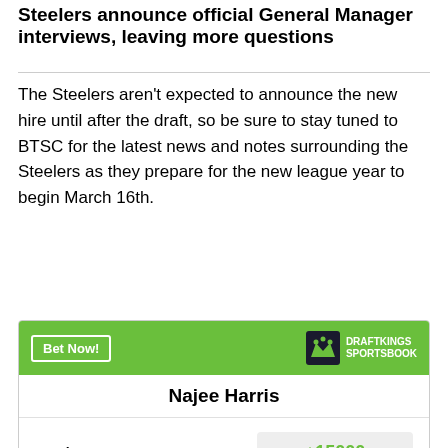Steelers announce official General Manager interviews, leaving more questions
The Steelers aren't expected to announce the new hire until after the draft, so be sure to stay tuned to BTSC for the latest news and notes surrounding the Steelers as they prepare for the new league year to begin March 16th.
| Najee Harris |  |
| --- | --- |
| To win MVP | +15000 |
| To win Offensive Player of the Year | +6000 |